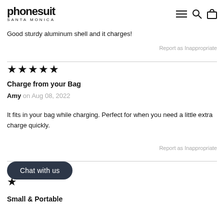phonesuit SANTA MONICA
Good sturdy aluminum shell and it charges!
Report as Inappropriate
★★★★★
Charge from your Bag
Amy on Aug 08, 2022
It fits in your bag while charging. Perfect for when you need a little extra charge quickly.
Report as Inappropriate
Chat with us
★
Small & Portable